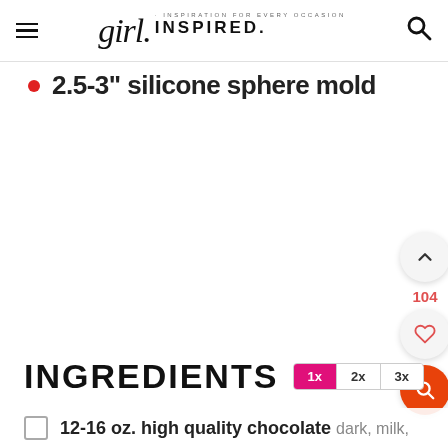girl. INSPIRATION FOR EVERY OCCASION INSPIRED.
2.5-3" silicone sphere mold
INGREDIENTS
12-16 oz. high quality chocolate dark, milk,